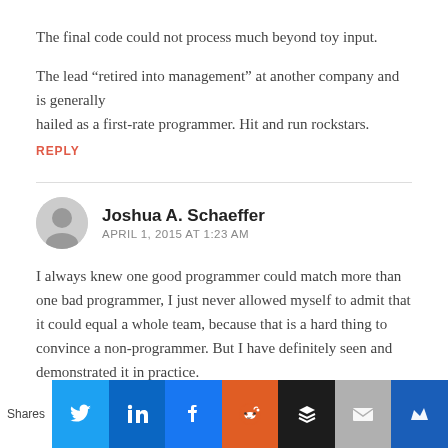The final code could not process much beyond toy input.
The lead “retired into management” at another company and is generally hailed as a first-rate programmer. Hit and run rockstars.
REPLY
Joshua A. Schaeffer
APRIL 1, 2015 AT 1:23 AM
I always knew one good programmer could match more than one bad programmer, I just never allowed myself to admit that it could equal a whole team, because that is a hard thing to convince a non-programmer. But I have definitely seen and demonstrated it in practice.